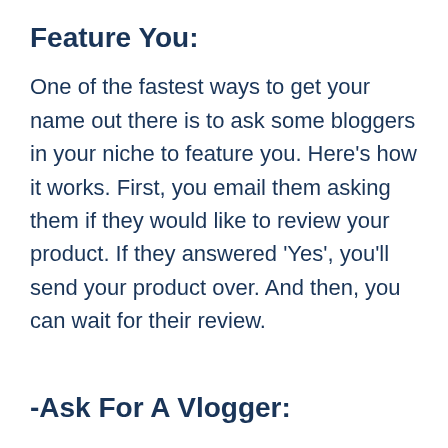Feature You:
One of the fastest ways to get your name out there is to ask some bloggers in your niche to feature you. Here’s how it works. First, you email them asking them if they would like to review your product. If they answered ‘Yes’, you’ll send your product over. And then, you can wait for their review.
-Ask For A Vlogger:
Also, The same concept applies to